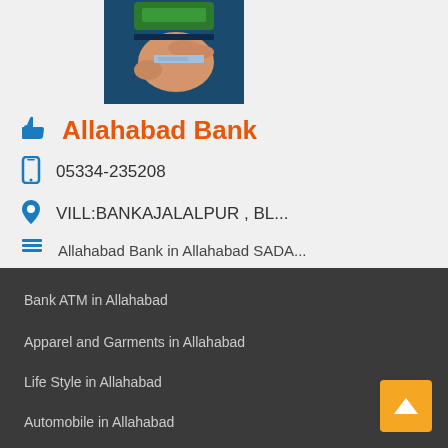[Figure (photo): Hand inserting a card into an ATM machine with green card reader visible]
Allahabad Bank
05334-235208
VILL:BANKAJALALPUR , BL...
Allahabad Bank in Allahabad SADA...
4 out of 5 stars rating
Social media icons: Facebook, Twitter, Google+
Bank ATM in Allahabad
Apparel and Garments in Allahabad
Life Style in Allahabad
Automobile in Allahabad